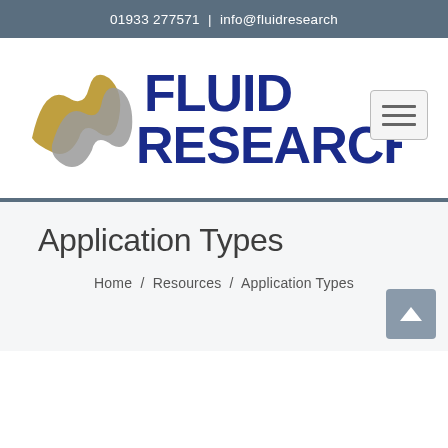01933 277571  |  info@fluidresearch
[Figure (logo): Fluid Research logo with stylized wave icon in gold and grey and bold navy text reading FLUID RESEARCH with registered trademark symbol]
Application Types
Home  /  Resources  /  Application Types